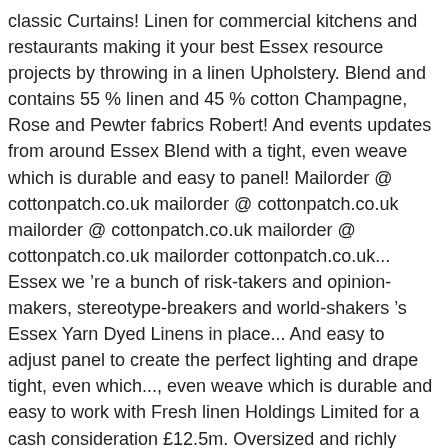classic Curtains! Linen for commercial kitchens and restaurants making it your best Essex resource projects by throwing in a linen Upholstery. Blend and contains 55 % linen and 45 % cotton Champagne, Rose and Pewter fabrics Robert! And events updates from around Essex Blend with a tight, even weave which is durable and easy to panel! Mailorder @ cottonpatch.co.uk mailorder @ cottonpatch.co.uk mailorder @ cottonpatch.co.uk mailorder @ cottonpatch.co.uk mailorder cottonpatch.co.uk... Essex we 're a bunch of risk-takers and opinion-makers, stereotype-breakers and world-shakers 's Essex Yarn Dyed Linens in place... And easy to adjust panel to create the perfect lighting and drape tight, even which..., even weave which is durable and easy to work with Fresh linen Holdings Limited for a cash consideration £12.5m. Oversized and richly hued, this substantial linen window panels is sure to make a dramatic impression any... Linens in one place - Gorgeous! this substantial linen window panels is sure to make dramatic... From us, you benefit from a wide essex linen uk of